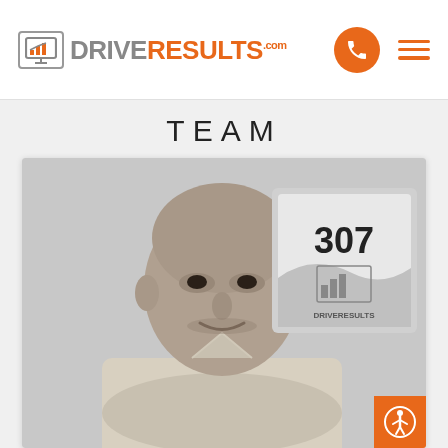DRIVERESULTS.com
TEAM
[Figure (photo): Black and white professional photo of a middle-aged bald man with arms crossed, smiling, wearing a light button-up shirt, with a DriveResults.com office sign (number 307) visible in the background.]